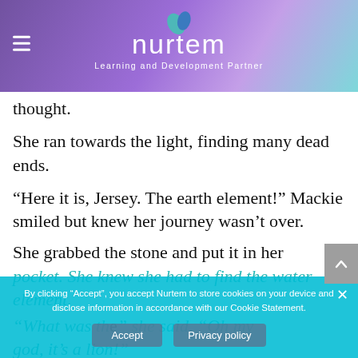nurtem — Learning and Development Partner
thought.
She ran towards the light, finding many dead ends.
“Here it is, Jersey. The earth element!” Mackie smiled but knew her journey wasn’t over.
She grabbed the stone and put it in her pocket. She knew she had to find the water element.
“What was that?” she said, “Oh my god, it’s a lion!”
By clicking “Accept”, you accept Nurtem to store cookies on your device and disclose information in accordance with our Cookie Statement.